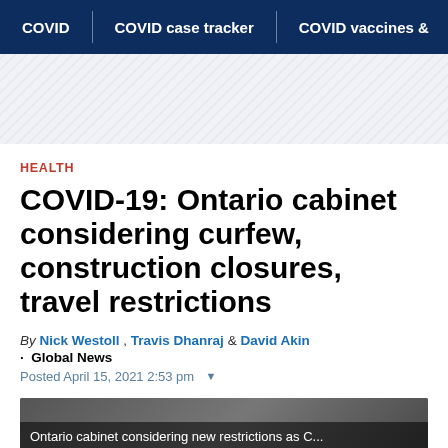COVID | COVID case tracker | COVID vaccines &
HEALTH
COVID-19: Ontario cabinet considering curfew, construction closures, travel restrictions
By Nick Westoll , Travis Dhanraj & David Akin
· Global News
Posted April 15, 2021 2:53 pm
[Figure (photo): Ontario cabinet considering new restrictions as C... As part of a suite of measures in response to reco...]